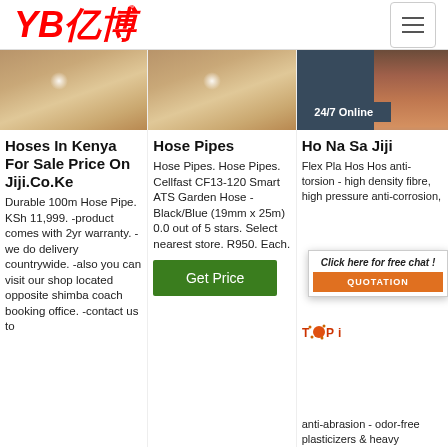[Figure (logo): YB 亿博 logo in red italic text with registered trademark symbol]
[Figure (screenshot): Hamburger menu button top right]
[Figure (photo): Close-up photo of fingers/hand on beige background - left product]
[Figure (photo): Close-up photo of fingers/hand on beige background - middle product]
[Figure (photo): Dark background with 24/7 Online badge and customer service representative with headset, chat popup with QUOTATION button]
Hoses In Kenya For Sale Price On Jiji.Co.Ke
Durable 100m Hose Pipe. KSh 11,999. -product comes with 2yr warranty. -we do delivery countrywide. -also you can visit our shop located opposite shimba coach booking office. -contact us to
Hose Pipes
Hose Pipes. Hose Pipes. Cellfast CF13-120 Smart ATS Garden Hose - Black/Blue (19mm x 25m) 0.0 out of 5 stars. Select nearest store. R950. Each.
[Figure (other): Get Price green button]
Ho Na Sa Jiji
Flex Pla Hos Hos anti-torsion - high density fibre, high pressure anti-corrosion, anti-abrasion - odor-free plasticizers & heavy